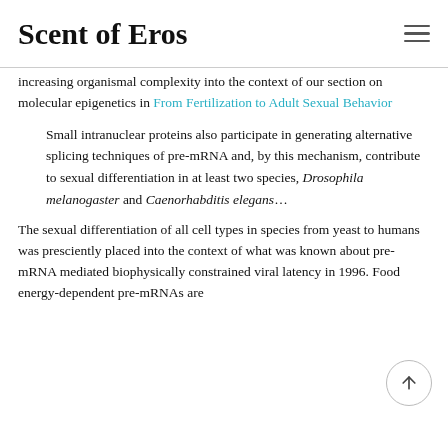Scent of Eros
increasing organismal complexity into the context of our section on molecular epigenetics in From Fertilization to Adult Sexual Behavior
Small intranuclear proteins also participate in generating alternative splicing techniques of pre-mRNA and, by this mechanism, contribute to sexual differentiation in at least two species, Drosophila melanogaster and Caenorhabditis elegans…
The sexual differentiation of all cell types in species from yeast to humans was presciently placed into the context of what was known about pre-mRNA mediated biophysically constrained viral latency in 1996. Food energy-dependent pre-mRNAs are